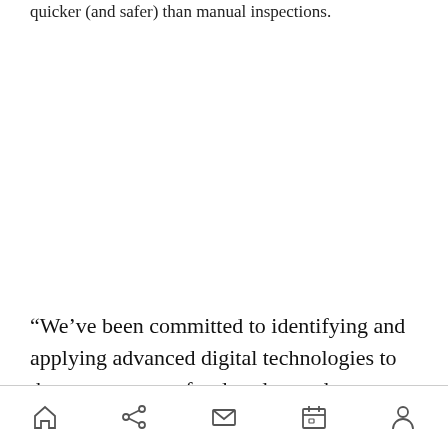quicker (and safer) than manual inspections.
“We’ve been committed to identifying and applying advanced digital technologies to the energy sector for decades, and our investment in Kespry epitomizes our focus,” added Daniel
Navigation bar with home, share, mail, calendar, and user icons